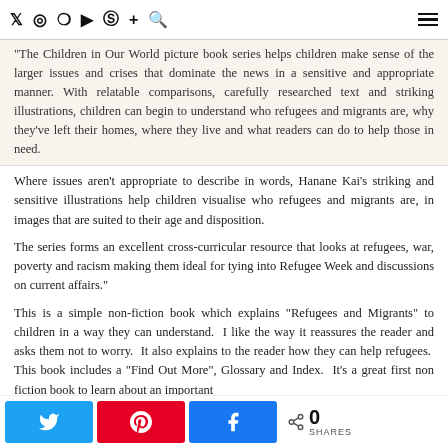Social media icons: Twitter, Instagram, Pinterest, YouTube, Facebook, Plus, Search, Hamburger menu
“The Children in Our World picture book series helps children make sense of the larger issues and crises that dominate the news in a sensitive and appropriate manner. With relatable comparisons, carefully researched text and striking illustrations, children can begin to understand who refugees and migrants are, why they’ve left their homes, where they live and what readers can do to help those in need.
Where issues aren’t appropriate to describe in words, Hanane Kai’s striking and sensitive illustrations help children visualise who refugees and migrants are, in images that are suited to their age and disposition.
The series forms an excellent cross-curricular resource that looks at refugees, war, poverty and racism making them ideal for tying into Refugee Week and discussions on current affairs.”
This is a simple non-fiction book which explains “Refugees and Migrants” to children in a way they can understand.  I like the way it reassures the reader and asks them not to worry.  It also explains to the reader how they can help refugees.  This book includes a “Find Out More”, Glossary and Index.  It’s a great first non fiction book to learn about an important
Share buttons: Twitter, Pinterest, Facebook. 0 SHARES